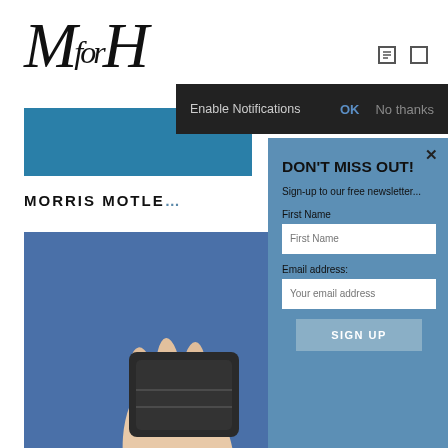[Figure (screenshot): Website screenshot showing MfH logo, blue rectangle, MORRIS MOTL... heading text, and a blue background photo of a hand holding a wallet/card holder device]
[Figure (screenshot): Browser notification bar with dark background reading 'Enable Notifications' with 'OK' and 'No thanks' options]
[Figure (screenshot): Newsletter signup modal popup with teal/steel-blue background containing title 'DON'T MISS OUT!', subtitle 'Sign-up to our free newsletter...', First Name field, Email address field, and SIGN UP button, with an X close button]